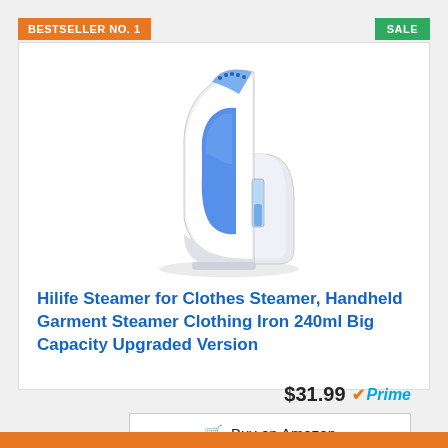BESTSELLER NO. 1
SALE
[Figure (photo): Handheld garment steamer — white body with blue water tank and blue steamer head nozzle]
Hilife Steamer for Clothes Steamer, Handheld Garment Steamer Clothing Iron 240ml Big Capacity Upgraded Version
$31.99 Prime
Buy on Amazon